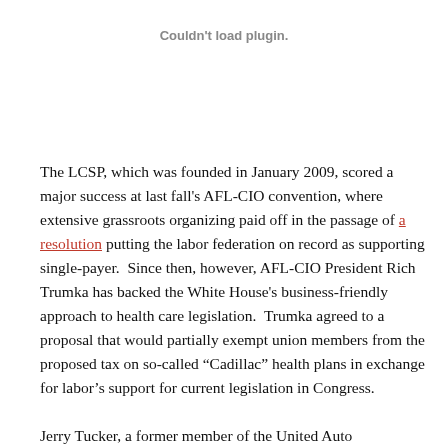Couldn't load plugin.
The LCSP, which was founded in January 2009, scored a major success at last fall's AFL-CIO convention, where extensive grassroots organizing paid off in the passage of a resolution putting the labor federation on record as supporting single-payer.  Since then, however, AFL-CIO President Rich Trumka has backed the White House's business-friendly approach to health care legislation.  Trumka agreed to a proposal that would partially exempt union members from the proposed tax on so-called “Cadillac” health plans in exchange for labor's support for current legislation in Congress.
Jerry Tucker, a former member of the United Auto